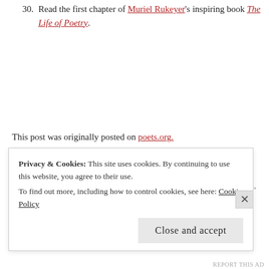30. Read the first chapter of Muriel Rukeyer's inspiring book The Life of Poetry.
This post was originally posted on poets.org.
Posted in Events, News and tagged celebrating, creative works, favorite poets, NANPO, national poetry month, national poetry writing month, poem writing, poem-a-day, poems, poetry, poetry matters, poetry month, poets, poets.org, writers on March 31, 2019 by
Privacy & Cookies: This site uses cookies. By continuing to use this website, you agree to their use.
To find out more, including how to control cookies, see here: Cookie Policy
Close and accept
REPORT THIS AD